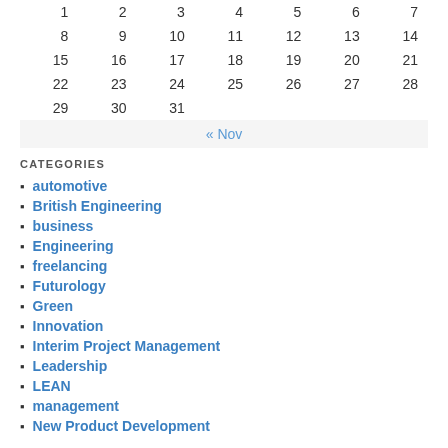| 1 | 2 | 3 | 4 | 5 | 6 | 7 |
| 8 | 9 | 10 | 11 | 12 | 13 | 14 |
| 15 | 16 | 17 | 18 | 19 | 20 | 21 |
| 22 | 23 | 24 | 25 | 26 | 27 | 28 |
| 29 | 30 | 31 |  |  |  |  |
« Nov
CATEGORIES
automotive
British Engineering
business
Engineering
freelancing
Futurology
Green
Innovation
Interim Project Management
Leadership
LEAN
management
New Product Development